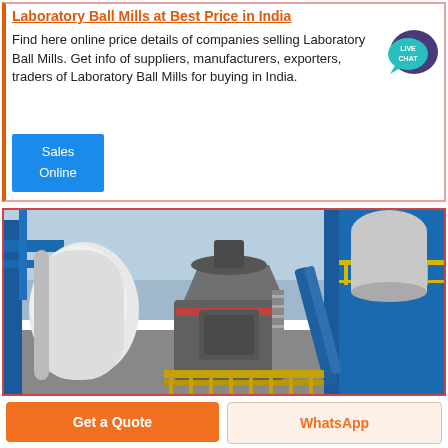Laboratory Ball Mills at Best Price in India
Find here online price details of companies selling Laboratory Ball Mills. Get info of suppliers, manufacturers, exporters, traders of Laboratory Ball Mills for buying in India.
[Figure (illustration): Live chat speech bubble icon, teal colored with white text 'LIVE CHAT']
Sales Online
[Figure (photo): Industrial ball mill machinery photograph showing large grinding equipment with blue steel structure, pipes, and industrial components in an outdoor facility setting]
Get a Quote
WhatsApp